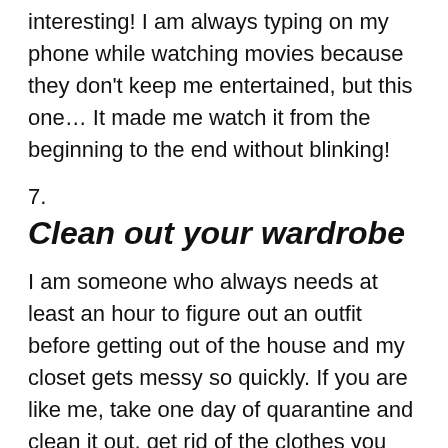interesting! I am always typing on my phone while watching movies because they don't keep me entertained, but this one… It made me watch it from the beginning to the end without blinking!
7.
Clean out your wardrobe
I am someone who always needs at least an hour to figure out an outfit before getting out of the house and my closet gets messy so quickly. If you are like me, take one day of quarantine and clean it out, get rid of the clothes you don't need and that don't fit you anymore, keep them aside to donate for charity or to sell. I think we all have lots of clothes lying around waiting for better days and those better